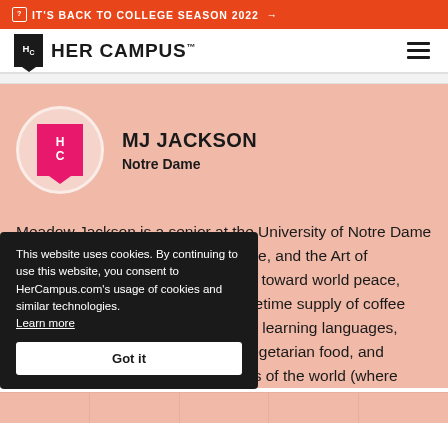IT'S BACK TO COLLEGE SEASON 2022 →
[Figure (logo): Her Campus logo with HC monogram and brand name]
MJ JACKSON
Notre Dame
Meadow Jackson is a senior at the University of Notre Dame studying Political Science, Japanese, and the Art of [partially obscured] to work toward world peace, [partially obscured] n a lifetime supply of coffee [partially obscured] oves learning languages, [partially obscured] of vegetarian food, and [partially obscured] corners of the world (where [partially obscured]
This website uses cookies. By continuing to use this website, you consent to HerCampus.com's usage of cookies and similar technologies. Learn more Got it